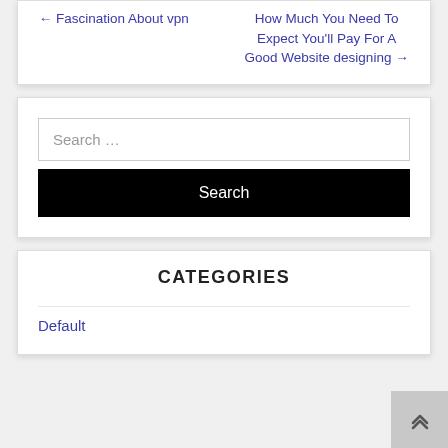Fascination About vpn
How Much You Need To Expect You'll Pay For A Good Website designing
Search …
Search
CATEGORIES
Default